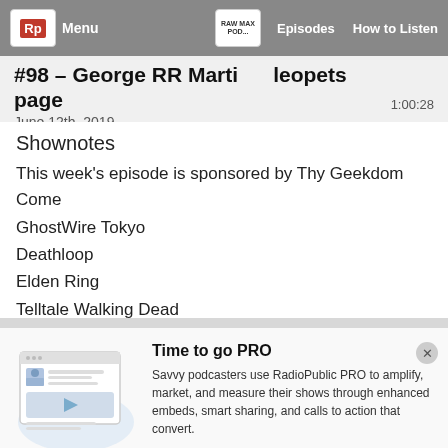Menu | Episodes | How to Listen
#98 – George RR Marti... leopets page
June 12th, 2019 | 1:00:28
Shownotes
This week's episode is sponsored by Thy Geekdom Come
GhostWire Tokyo
Deathloop
Elden Ring
Telltale Walking Dead
Telltale Game of Thrones
...
[Figure (illustration): RadioPublic PRO promotional illustration showing a podcast embed widget with a play button and content layout]
Time to go PRO
Savvy podcasters use RadioPublic PRO to amplify, market, and measure their shows through enhanced embeds, smart sharing, and calls to action that convert.
Get started